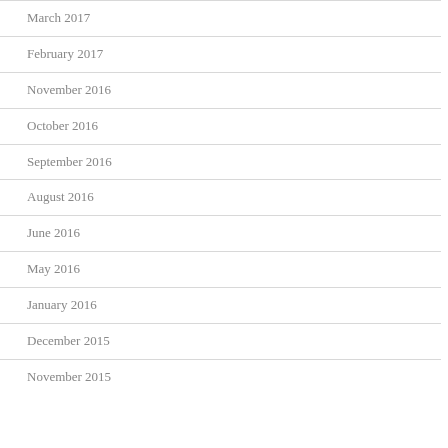March 2017
February 2017
November 2016
October 2016
September 2016
August 2016
June 2016
May 2016
January 2016
December 2015
November 2015